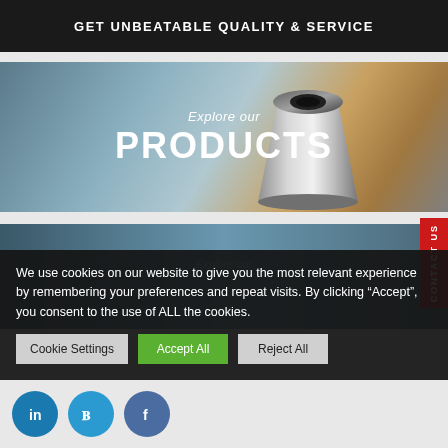GET UNBEATABLE QUALITY & SERVICE
[Figure (photo): Close-up photo of metallic machined parts/cone with blurred industrial background, overlaid with 'Explore our PRODUCTS' text]
[Figure (photo): Industrial blue-toned photo partially visible, overlaid with cookie consent banner]
We use cookies on our website to give you the most relevant experience by remembering your preferences and repeat visits. By clicking “Accept”, you consent to the use of ALL the cookies.
Cookie Settings | Accept All | Reject All